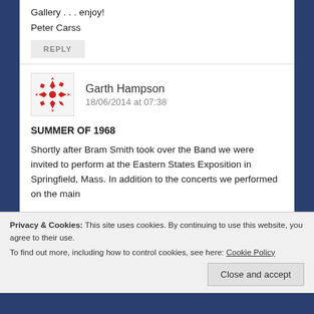Gallery . . . enjoy!
Peter Carss
REPLY
[Figure (illustration): Red geometric snowflake-style avatar icon for user Garth Hampson]
Garth Hampson
18/06/2014 at 07:38
SUMMER OF 1968
Shortly after Bram Smith took over the Band we were invited to perform at the Eastern States Exposition in Springfield, Mass. In addition to the concerts we performed on the main
Privacy & Cookies: This site uses cookies. By continuing to use this website, you agree to their use.
To find out more, including how to control cookies, see here: Cookie Policy
Close and accept